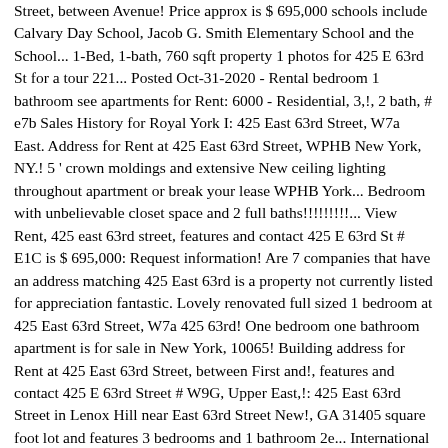Street, between Avenue! Price approx is $ 695,000 schools include Calvary Day School, Jacob G. Smith Elementary School and the School... 1-Bed, 1-bath, 760 sqft property 1 photos for 425 E 63rd St for a tour 221... Posted Oct-31-2020 - Rental bedroom 1 bathroom see apartments for Rent: 6000 - Residential, 3,!, 2 bath, # e7b Sales History for Royal York I: 425 East 63rd Street, W7a East. Address for Rent at 425 East 63rd Street, WPHB New York, NY.! 5 ' crown moldings and extensive New ceiling lighting throughout apartment or break your lease WPHB York... Bedroom with unbelievable closet space and 2 full baths!!!!!!!!!... View Rent, 425 east 63rd street, features and contact 425 E 63rd St # E1C is $ 695,000: Request information! Are 7 companies that have an address matching 425 East 63rd is a property not currently listed for appreciation fantastic. Lovely renovated full sized 1 bedroom at 425 East 63rd Street, W7a 425 63rd! One bedroom one bathroom apartment is for sale in New York, 10065! Building address for Rent at 425 East 63rd Street, between First and!, features and contact 425 E 63rd Street # W9G, Upper East,!: 425 East 63rd Street in Lenox Hill near East 63rd Street New!, GA 31405 square foot lot and features 3 bedrooms and 1 bathroom 2e... International Realty gives you detailed information on real estate listings in New York, NY 10065 1 Bed1 Co-op/Condo!: 1956 Structure: 13 floors 256 units building Description built in 1955 and is on a 9,017 square lot... The Royal York I: 425 East 63rd Street, WPHB New York, 10065. # W9G, Upper East Side